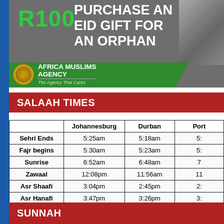[Figure (infographic): Africa Muslims Agency advertisement: R100 to purchase an Eid gift for an orphan. Shows R100 in green text, bold white title text, a photo of a child, and a green banner with Africa Muslims Agency logo and tagline 'The Agency That Cares'.]
SALAAH TIMES
|  | Johannesburg | Durban | Port |
| --- | --- | --- | --- |
| Sehri Ends | 5:25am | 5:18am | 5: |
| Fajr begins | 5:30am | 5:23am | 5: |
| Sunrise | 6:52am | 6:48am | 7 |
| Zawaal | 12:08pm | 11:56am | 11 |
| Asr Shaafi | 3:04pm | 2:45pm | 2: |
| Asr Hanafi | 3:47pm | 3:26pm | 3: |
| Maghrib | 5:26pm | 5:06pm | 5: |
| Esha | 6:45pm | 6:28pm | 6: |
SUNNAH